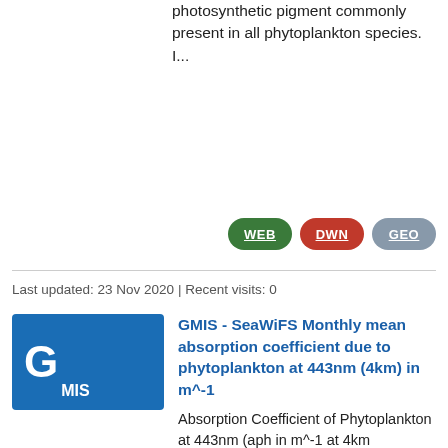photosynthetic pigment commonly present in all phytoplankton species. I...
[Figure (other): Three buttons: WEB (green), DWN (red), GEO (grey-blue)]
Last updated: 23 Nov 2020 | Recent visits: 0
[Figure (logo): Blue rectangle with large white G and MIS text]
GMIS - SeaWiFS Monthly mean absorption coefficient due to phytoplankton at 443nm (4km) in m^-1
Absorption Coefficient of Phytoplankton at 443nm (aph in m^-1 at 4km resolution): The absorption coefficient aph represents the fraction of incident light absorbed by phytoplankton organisms. It is an index of variability